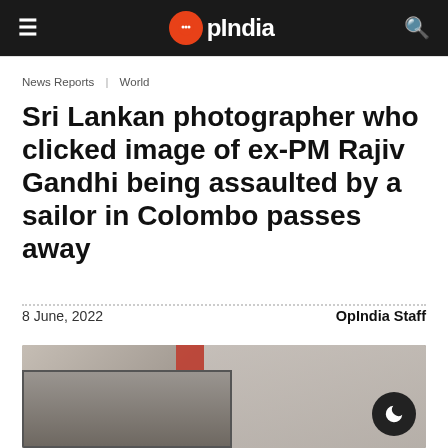OpIndia
News Reports | World
Sri Lankan photographer who clicked image of ex-PM Rajiv Gandhi being assaulted by a sailor in Colombo passes away
8 June, 2022    OpIndia Staff
[Figure (photo): A man standing in front of a framed black-and-white photograph, indoors with curtains in the background and a red object visible.]